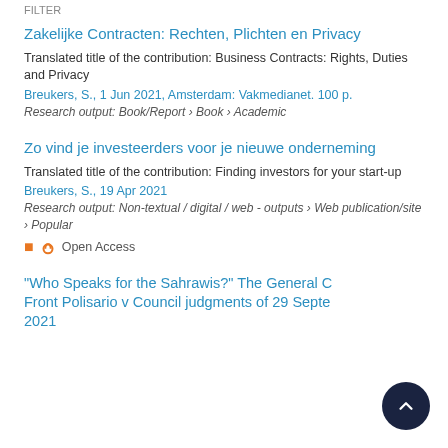FILTER
Zakelijke Contracten: Rechten, Plichten en Privacy
Translated title of the contribution: Business Contracts: Rights, Duties and Privacy
Breukers, S., 1 Jun 2021, Amsterdam: Vakmedianet. 100 p.
Research output: Book/Report › Book › Academic
Zo vind je investeerders voor je nieuwe onderneming
Translated title of the contribution: Finding investors for your start-up
Breukers, S., 19 Apr 2021
Research output: Non-textual / digital / web - outputs › Web publication/site › Popular
Open Access
“Who Speaks for the Sahrawis?” The General Court’s Front Polisario v Council judgments of 29 September 2021